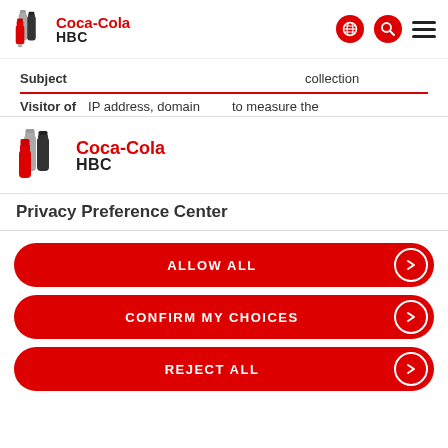[Figure (logo): Coca-Cola HBC logo with bottle icons in header, with globe, search, and hamburger menu icons on right]
Subject    collection
Visitor of    IP address, domain    to measure the
[Figure (logo): Coca-Cola HBC logo with bottle icons, larger size]
Privacy Preference Center
ALLOW ALL
CONFIRM MY CHOICES
REJECT ALL